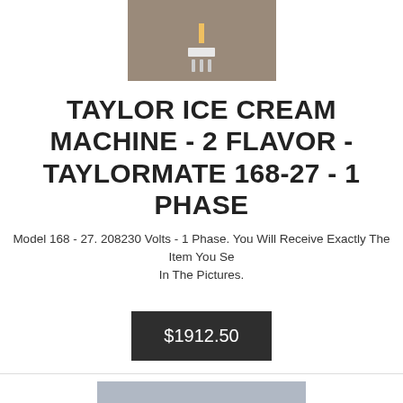[Figure (photo): Photo of Taylor ice cream machine parts on a surface]
TAYLOR ICE CREAM MACHINE - 2 FLAVOR - TAYLORMATE 168-27 - 1 PHASE
Model 168 - 27. 208230 Volts - 1 Phase. You Will Receive Exactly The Item You See In The Pictures.
$1912.50
[Figure (photo): Second photo of Taylor ice cream machine parts on grey background]